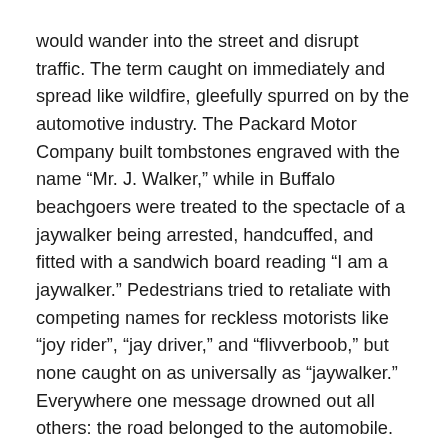would wander into the street and disrupt traffic. The term caught on immediately and spread like wildfire, gleefully spurred on by the automotive industry. The Packard Motor Company built tombstones engraved with the name “Mr. J. Walker,” while in Buffalo beachgoers were treated to the spectacle of a jaywalker being arrested, handcuffed, and fitted with a sandwich board reading “I am a jaywalker.” Pedestrians tried to retaliate with competing names for reckless motorists like “joy rider”, “jay driver,” and “flivverboob,” but none caught on as universally as “jaywalker.” Everywhere one message drowned out all others: the road belonged to the automobile.
And it worked. In only a few years, the narrative around auto accidents had been completely turned on its head, and newspaper articles that once demonized motorists for pedestrian deaths now almost exclusively blamed